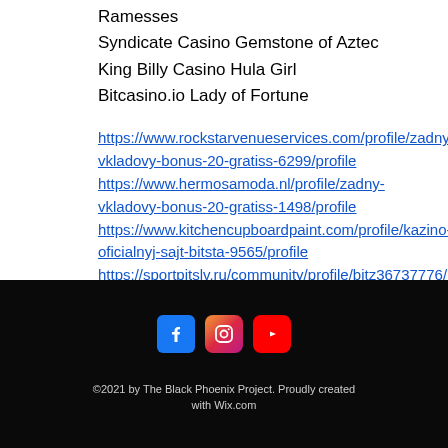Ramesses
Syndicate Casino Gemstone of Aztec
King Billy Casino Hula Girl
Bitcasino.io Lady of Fortune
https://www.rockstarvenueservices.com/profile/zadny-vkladovy-bonus-20-gratiss-6299/profile https://www.hermosamoda.nl/profile/zadny-vkladovy-bonus-20-gratiss-1498/profile https://www.kitchencupboardpaint.com/profile/kazino-oficialnyj-sajt-bitsta-9565/profile https://sportpitslv.ru/community/profile/bitz36737776/
©2021 by The Black Phoenix Project. Proudly created with Wix.com